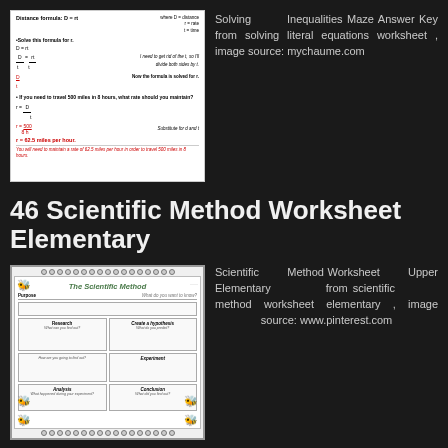[Figure (illustration): Worksheet thumbnail showing distance formula D=rt solution steps with handwritten-style math and word problem, solved for r with red highlighted answers]
Solving Inequalities Maze Answer Key from solving literal equations worksheet , image source: mychaume.com
46 Scientific Method Worksheet Elementary
[Figure (illustration): The Scientific Method worksheet for upper elementary with spiral binding decoration and bee graphics, containing sections for Purpose, Research, Create a hypothesis, Experiment, Analysis, and Conclusion]
Scientific Method Worksheet Upper Elementary from scientific method worksheet elementary , image source: www.pinterest.com
◄ PREVIOUS POST